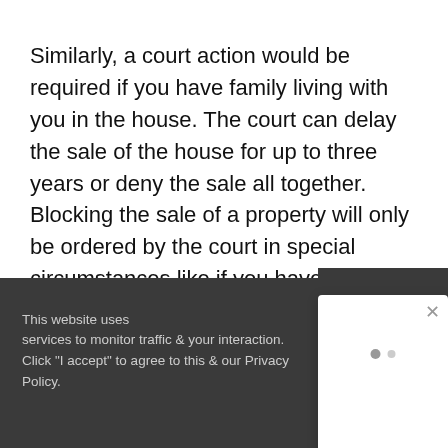Similarly, a court action would be required if you have family living with you in the house. The court can delay the sale of the house for up to three years or deny the sale all together. Blocking the sale of a property will only be ordered by the court in special circumstances like if you have a disabled child and the house was modified for their specific needs.
[Figure (screenshot): Cookie consent banner (dark grey background) partially visible at bottom left, with text about website uses and privacy policy. A white modal popup overlaps the top-right of the banner showing two pagination dots. An orange/dark chat widget icon is visible at bottom right.]